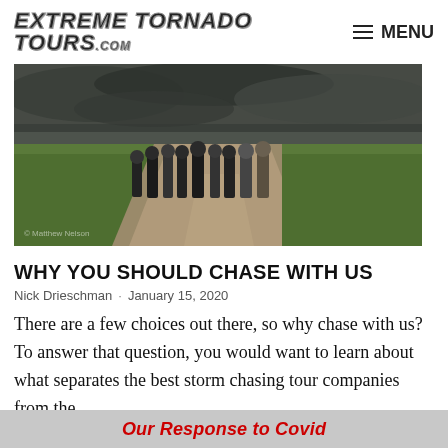EXTREME TORNADO TOURS.com   MENU
[Figure (photo): Group of people standing on a dirt road surrounded by green fields with dark storm clouds overhead]
WHY YOU SHOULD CHASE WITH US
Nick Drieschman  ·  January 15, 2020
There are a few choices out there, so why chase with us? To answer that question, you would want to learn about what separates the best storm chasing tour companies from the
Our Response to Covid